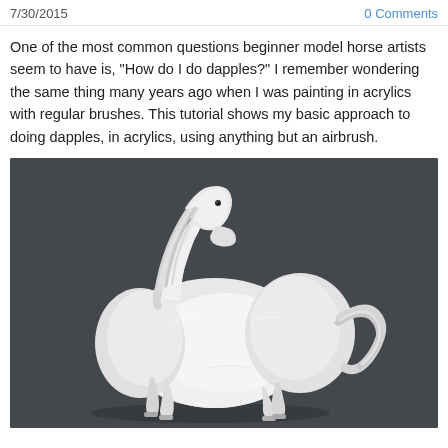7/30/2015
0 Comments
One of the most common questions beginner model horse artists seem to have is, "How do I do dapples?" I remember wondering the same thing many years ago when I was painting in acrylics with regular brushes. This tutorial shows my basic approach to doing dapples, in acrylics, using anything but an airbrush.
[Figure (photo): A white unpainted model horse figurine posed in a walking stance against a dark grey background. The horse has detailed sculpting showing muscle definition and flowing mane and tail.]